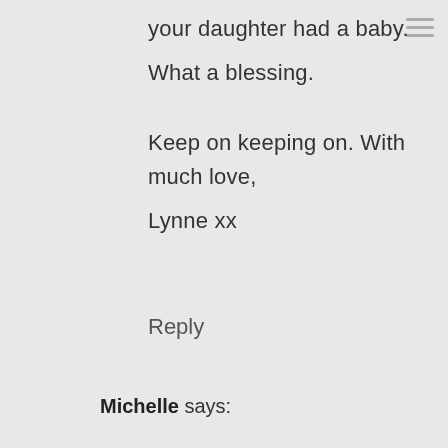your daughter had a baby.

What a blessing.

Keep on keeping on. With much love,

Lynne xx
Reply
Michelle says: